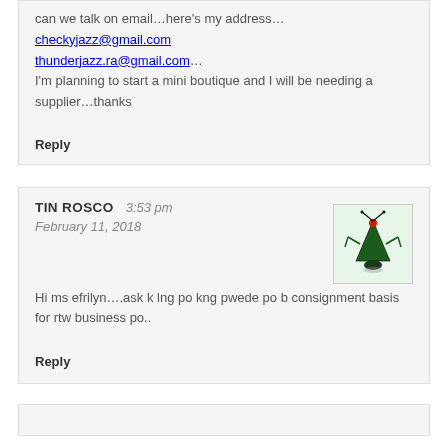can we talk on email…here's my address…
checkyjazz@gmail.com
thunderjazz.ra@gmail.com…
I'm planning to start a mini boutique and I will be needing a supplier…thanks
Reply
TIN ROSCO   3:53 pm
February 11, 2018
[Figure (illustration): Green cartoon bug/insect avatar icon on light green background]
Hi ms efrilyn….ask k lng po kng pwede po b consignment basis for rtw business po..
Reply